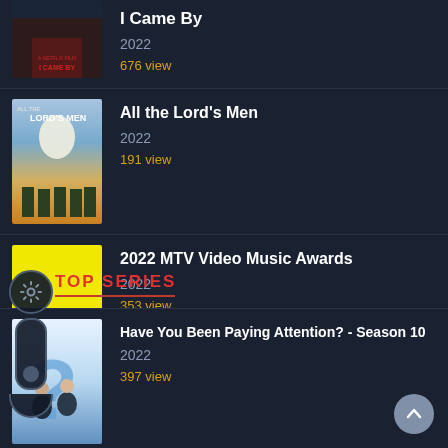I Came By
2022
676 view
All the Lord's Men
2022
191 view
2022 MTV Video Music Awards
2022
353 view
TOP SERIES
Have You Been Paying Attention? - Season 10
2022
397 view